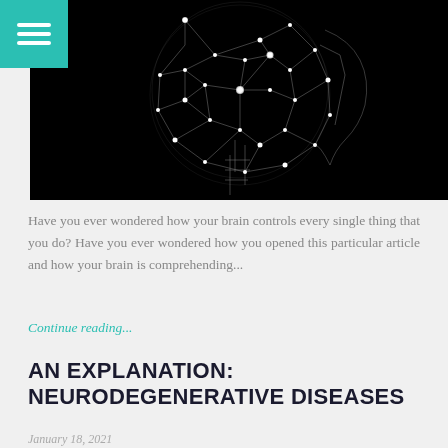[Figure (illustration): Dark background illustration of a human head/brain shown as a glowing neural network sphere with geometric lines and nodes, overlaid with a side profile of a woman's face. Teal hamburger menu icon in top-left corner.]
Have you ever wondered how your brain controls every single thing that you do? Have you ever wondered how you opened this particular article and how your brain is comprehending...
Continue reading...
AN EXPLANATION: NEURODEGENERATIVE DISEASES
January 18, 2021